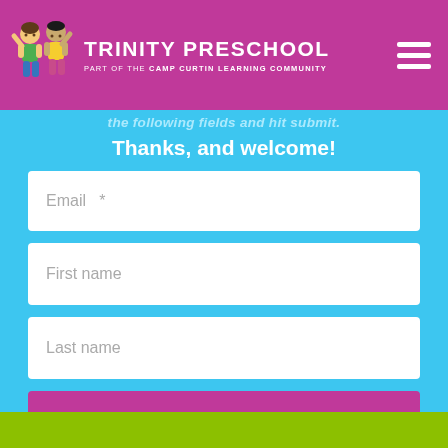TRINITY PRESCHOOL — Part of the CAMP CURTIN LEARNING COMMUNITY
the following fields and hit submit.
Thanks, and welcome!
Email *
First name
Last name
SIGN UP